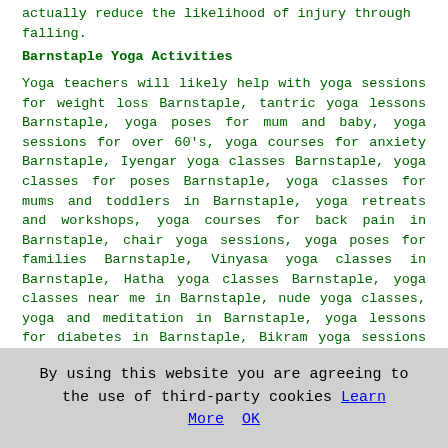actually reduce the likelihood of injury through falling.
Barnstaple Yoga Activities
Yoga teachers will likely help with yoga sessions for weight loss Barnstaple, tantric yoga lessons Barnstaple, yoga poses for mum and baby, yoga sessions for over 60's, yoga courses for anxiety Barnstaple, Iyengar yoga classes Barnstaple, yoga classes for poses Barnstaple, yoga classes for mums and toddlers in Barnstaple, yoga retreats and workshops, yoga courses for back pain in Barnstaple, chair yoga sessions, yoga poses for families Barnstaple, Vinyasa yoga classes in Barnstaple, Hatha yoga classes Barnstaple, yoga classes near me in Barnstaple, nude yoga classes, yoga and meditation in Barnstaple, yoga lessons for diabetes in Barnstaple, Bikram yoga sessions Barnstaple, yoga workouts Barnstaple, yoga sessions for beginners Barnstaple, Bikram yoga classes in Barnstaple, yoga sessions for kids, yoga lessons for older adults Barnstaple, yoga courses for adults in Barnstaple, yoga classes for stress Barnstaple, yoga lessons for all ages Barnstaple, power yoga classes Barnstaple and other yoga related activities in Barnstaple, Devon. These are just some of the activities that are performed during local yoga classes. Barnstaple tutors will be happy to tell you about
By using this website you are agreeing to the use of third-party cookies Learn More OK